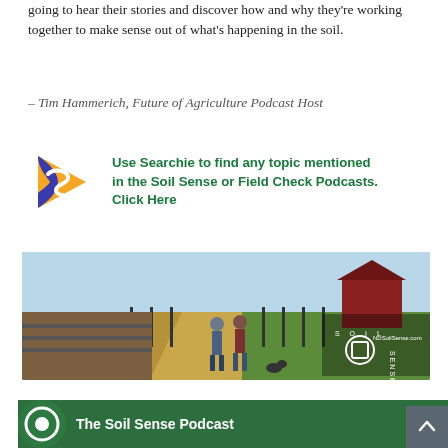going to hear their stories and discover how and why they're working together to make sense out of what's happening in the soil.
– Tim Hammerich, Future of Agriculture Podcast Host
[Figure (logo): Searchie logo — orange and blue play-button shaped icon with stylized S]
Use Searchie to find any topic mentioned in the Soil Sense or Field Check Podcasts. Click Here
[Figure (photo): Two people walking on a dirt farm road flanked by cattle pens on the left and green fields with a red barn on the right. Soil Sense podcast logo watermark in lower right corner with text NDSoilSense.com]
[Figure (screenshot): The Soil Sense Podcast thumbnail/player with green background, podcast logo, and title text]